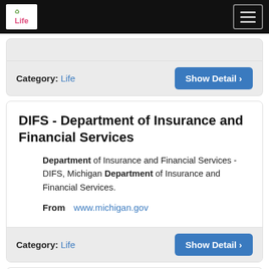Life (logo) | hamburger menu
Category: Life | Show Detail >
DIFS - Department of Insurance and Financial Services
Department of Insurance and Financial Services - DIFS, Michigan Department of Insurance and Financial Services.
From   www.michigan.gov
Category: Life | Show Detail >